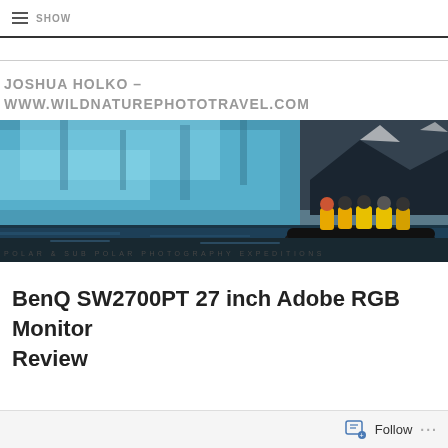≡ SHOW
JOSHUA HOLKO – WWW.WILDNATUREPHOTOTRAVEL.COM
[Figure (photo): Panoramic banner photo showing people in yellow jackets on a black inflatable boat in front of a massive blue glacier/iceberg. Text overlay at bottom reads: POLAR & SUB POLAR PHOTOGRAPHY EXPEDITIONS]
BenQ SW2700PT 27 inch Adobe RGB Monitor Review